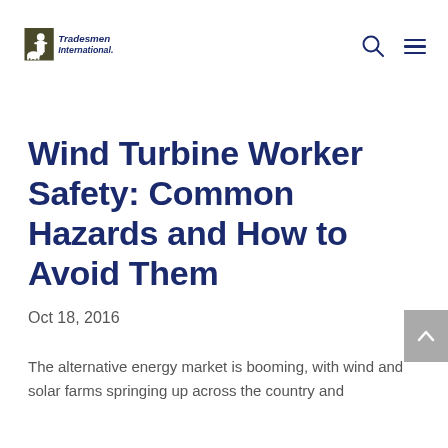Tradesmen International.
Wind Turbine Worker Safety: Common Hazards and How to Avoid Them
Oct 18, 2016
The alternative energy market is booming, with wind and solar farms springing up across the country and